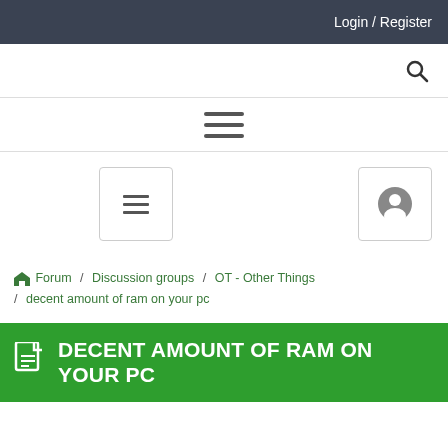Login / Register
[Figure (screenshot): Search icon (magnifying glass) on navigation bar]
[Figure (screenshot): Hamburger menu icon (three horizontal lines)]
[Figure (screenshot): Two widget buttons: a hamburger menu button and a user/account button]
Forum / Discussion groups / OT - Other Things / decent amount of ram on your pc
DECENT AMOUNT OF RAM ON YOUR PC